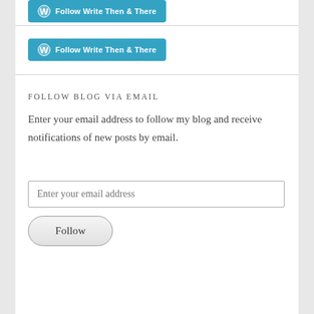[Figure (other): WordPress Follow Write Then & There button (truncated at top)]
[Figure (other): WordPress Follow Write Then & There button]
Follow Blog via Email
Enter your email address to follow my blog and receive notifications of new posts by email.
Enter your email address
Follow